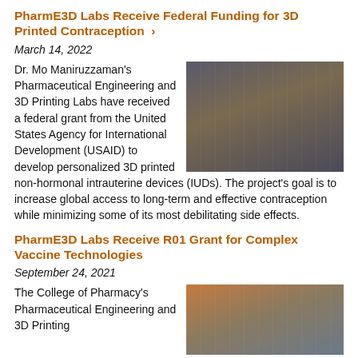PharmE3D Labs Receive Federal Funding for 3D Printed Contraception >
March 14, 2022
[Figure (photo): Group of researchers in white lab coats and face masks standing in a laboratory setting]
Dr. Mo Maniruzzaman's Pharmaceutical Engineering and 3D Printing Labs have received a federal grant from the United States Agency for International Development (USAID) to develop personalized 3D printed non-hormonal intrauterine devices (IUDs). The project's goal is to increase global access to long-term and effective contraception while minimizing some of its most debilitating side effects.
PharmE3D Labs Receive R01 Grant for Complex Vaccine Technologies
September 24, 2021
[Figure (photo): Three researchers smiling in a laboratory setting]
The College of Pharmacy's Pharmaceutical Engineering and 3D Printing